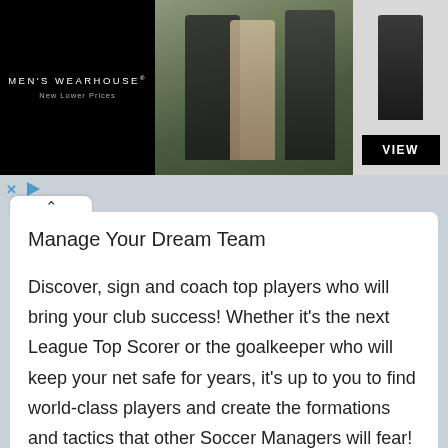[Figure (photo): Men's Wearhouse advertisement banner showing a couple in formal wear and a boy in a suit, with a black 'VIEW' button on the right.]
Manage Your Dream Team
Discover, sign and coach top players who will bring your club success! Whether it's the next League Top Scorer or the goalkeeper who will keep your net safe for years, it's up to you to find world-class players and create the formations and tactics that other Soccer Managers will fear!
Motivate your stars through League, Cup,